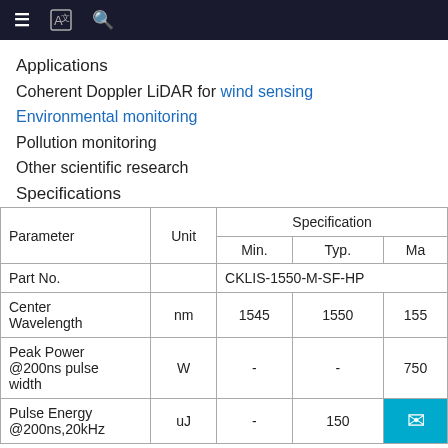≡  [icon]  🔍
Applications
Coherent Doppler LiDAR for wind sensing
Environmental monitoring
Pollution monitoring
Other scientific research
Specifications
| Parameter | Unit | Specification: Min. | Specification: Typ. | Specification: Ma(x) |
| --- | --- | --- | --- | --- |
| Part No. |  | CKLIS-1550-M-SF-HP |  |  |
| Center Wavelength | nm | 1545 | 1550 | 155(5) |
| Peak Power @200ns pulse width | W | - | - | 750 |
| Pulse Energy @200ns,20kHz | uJ | - | 150 |  |